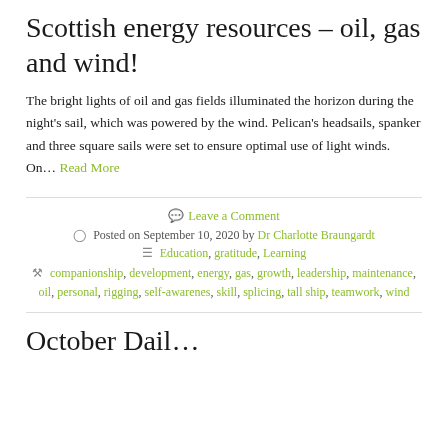Scottish energy resources – oil, gas and wind!
The bright lights of oil and gas fields illuminated the horizon during the night's sail, which was powered by the wind. Pelican's headsails, spanker and three square sails were set to ensure optimal use of light winds. On… Read More
Leave a Comment
Posted on September 10, 2020 by Dr Charlotte Braungardt
Education, gratitude, Learning
companionship, development, energy, gas, growth, leadership, maintenance, oil, personal, rigging, self-awarenes, skill, splicing, tall ship, teamwork, wind
October Dail…